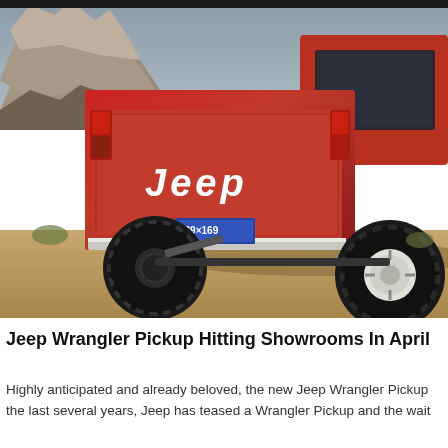[Figure (photo): Rear view of a red Jeep Wrangler Pickup truck parked on sandy desert terrain with rocky formations in the background. The tailgate reads 'Jeep' in white bold lettering. A license plate reads '039×169'. Large off-road tires with white wheels are visible.]
Jeep Wrangler Pickup Hitting Showrooms In April
Highly anticipated and already beloved, the new Jeep Wrangler Pickup the last several years, Jeep has teased a Wrangler Pickup and the wait